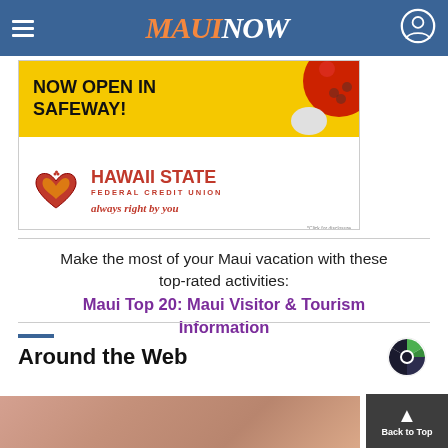MAUI NOW
[Figure (screenshot): Hawaii State Federal Credit Union advertisement banner: 'NOW OPEN IN SAFEWAY!' with yellow background, red bowling ball graphic, Hawaii State FCU logo with heart, tagline 'always right by you']
Make the most of your Maui vacation with these top-rated activities:
Maui Top 20: Maui Visitor & Tourism Information
Around the Web
[Figure (logo): Taboola logo - green and dark circular logo]
[Figure (photo): Partial photo of a person's face at bottom of page]